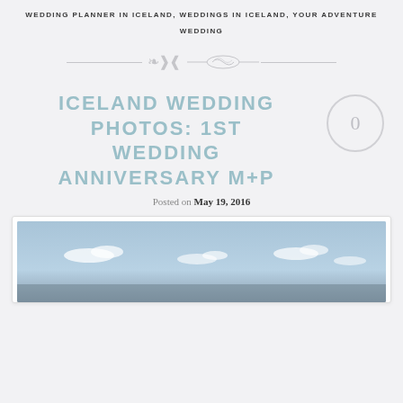WEDDING PLANNER IN ICELAND, WEDDINGS IN ICELAND, YOUR ADVENTURE WEDDING
[Figure (illustration): Decorative ornamental divider with scrollwork/flourish in center and horizontal lines on either side]
ICELAND WEDDING PHOTOS: 1ST WEDDING ANNIVERSARY M+P
Posted on May 19, 2016
[Figure (photo): Landscape photograph showing a blue sky with scattered clouds near the horizon, likely Iceland scenery]